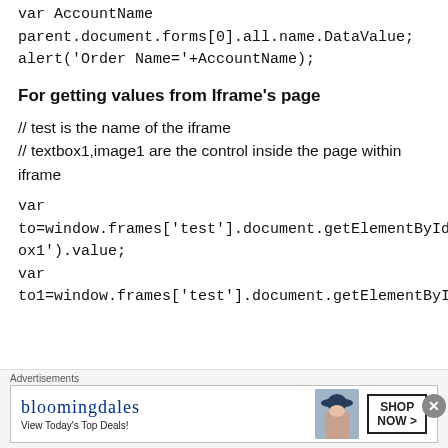var AccountName
parent.document.forms[0].all.name.DataValue;
alert('Order Name='+AccountName);
For getting values from Iframe's page
// test is the name of the iframe
// textbox1,image1 are the control inside the page within iframe
var
to=window.frames['test'].document.getElementById('TextBox1').value;
var
to1=window.frames['test'].document.getElementById('Imag...
[Figure (other): Bloomingdales advertisement banner: 'View Today's Top Deals!' with SHOP NOW > button and woman in hat image]
Advertisements